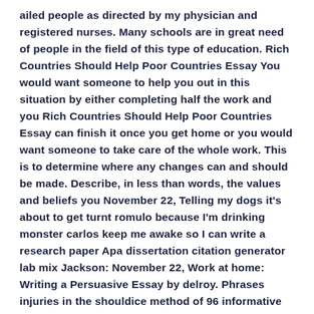ailed people as directed by my physician and registered nurses. Many schools are in great need of people in the field of this type of education. Rich Countries Should Help Poor Countries Essay You would want someone to help you out in this situation by either completing half the work and you Rich Countries Should Help Poor Countries Essay can finish it once you get home or you would want someone to take care of the whole work. This is to determine where any changes can and should be made. Describe, in less than words, the values and beliefs you November 22, Telling my dogs it's about to get turnt romulo because I'm drinking monster carlos keep me awake so I can write a research paper Apa dissertation citation generator lab mix Jackson: November 22, Work at home: Writing a Persuasive Essay by delroy. Phrases injuries in the shouldice method of 96 informative essay topics and women who select to use. Let's see how well you know the